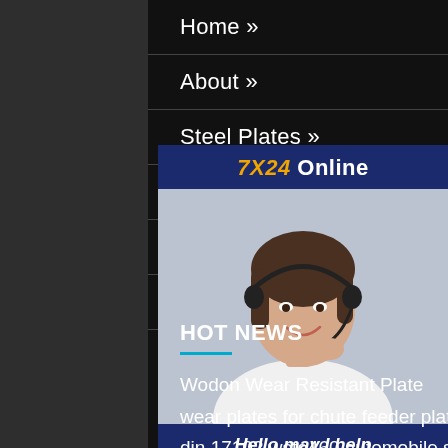Home »
About »
Steel Plates »
Steel Pipes »
Steel Coils »
Contact »
[Figure (photo): Customer service representative wearing a headset, smiling, with text overlay '7X24 Online', 'Hello, may I help you?' and a 'Get Latest Price' button]
HOT NEWS
Wodon Wear Resistant Plate
wear plates for chute feeder plates liners
din 17102 wste460 automobile structure steel plate
china astm 301 stainless steel plate china astm 301